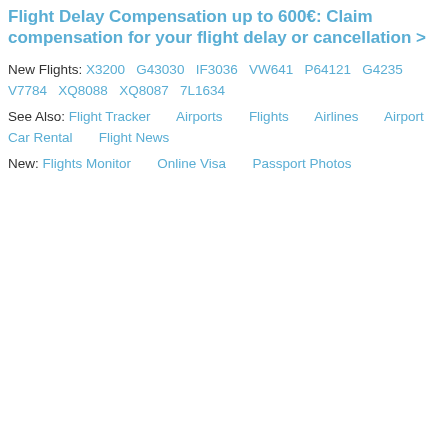Flight Delay Compensation up to 600€: Claim compensation for your flight delay or cancellation >
New Flights: X3200  G43030  IF3036  VW641  P64121  G4235  V7784  XQ8088  XQ8087  7L1634
See Also: Flight Tracker      Airports      Flights      Airlines      Airport Car Rental      Flight News
New: Flights Monitor      Online Visa      Passport Photos